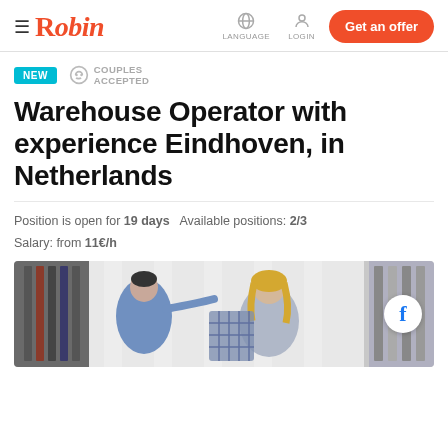Robin — LANGUAGE  LOGIN  Get an offer
NEW  COUPLES ACCEPTED
Warehouse Operator with experience Eindhoven, in Netherlands
Position is open for 19 days  Available positions: 2/3  Salary: from 11€/h
[Figure (photo): Photo of two people, a man in a blue shirt and a woman with blonde hair, sorting clothes on a rack in a warehouse or clothing store setting. A circular Facebook button overlay appears on the right side of the image.]